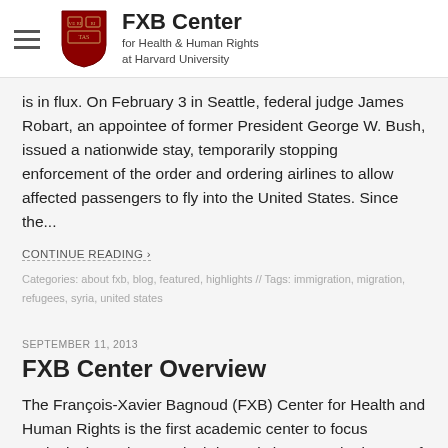FXB Center for Health & Human Rights at Harvard University
is in flux. On February 3 in Seattle, federal judge James Robart, an appointee of former President George W. Bush, issued a nationwide stay, temporarily stopping enforcement of the order and ordering airlines to allow affected passengers to fly into the United States. Since the...
CONTINUE READING ›
Categories: about fxb, blog, featured, highlights // Tags: immigration, migration, refugees, syria, united states
SEPTEMBER 11, 2013
FXB Center Overview
The François-Xavier Bagnoud (FXB) Center for Health and Human Rights is the first academic center to focus exclusively on the practical dynamic between the issues of health and human rights. Founded in 1993 through a gift from the